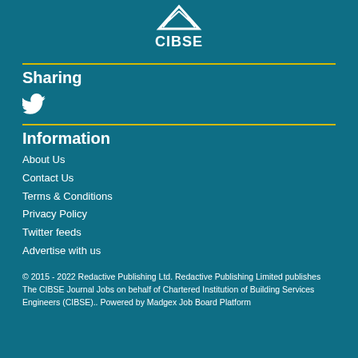[Figure (logo): CIBSE logo with mountain/triangle graphic above the text CIBSE]
Sharing
[Figure (illustration): Twitter bird icon (social media sharing icon)]
Information
About Us
Contact Us
Terms & Conditions
Privacy Policy
Twitter feeds
Advertise with us
© 2015 - 2022 Redactive Publishing Ltd. Redactive Publishing Limited publishes The CIBSE Journal Jobs on behalf of Chartered Institution of Building Services Engineers (CIBSE).. Powered by Madgex Job Board Platform